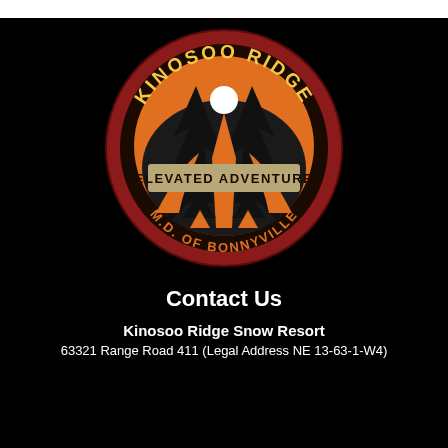[Figure (logo): Kinosoo Ridge circular logo with dark red border, orange mountain/tree graphic, white sun/golf ball, text 'KINOSOO RIDGE' arced along the top, 'ELEVATED ADVENTURE' on a tan banner in the center, and 'M.D. OF BONNYVILLE' arced along the bottom. Tagline: Elevated Adventure.]
Contact Us
Kinosoo Ridge Snow Resort
63321 Range Road 411 (Legal Address NE 13-63-1-W4)